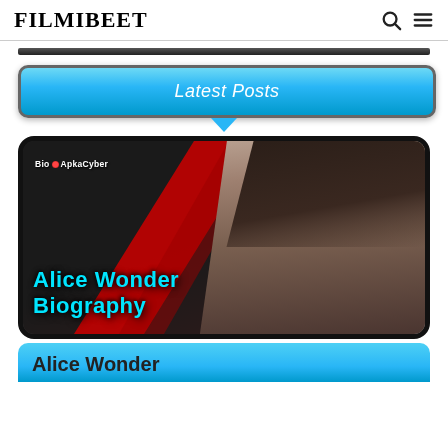FILMIBEET
Latest Posts
[Figure (photo): Article thumbnail with a woman in a black leather jacket against a dark and red diagonal background, with text 'BioApkaCyber' as watermark and 'Alice Wonder Biography' as title overlay in cyan bold text]
Alice Wonder